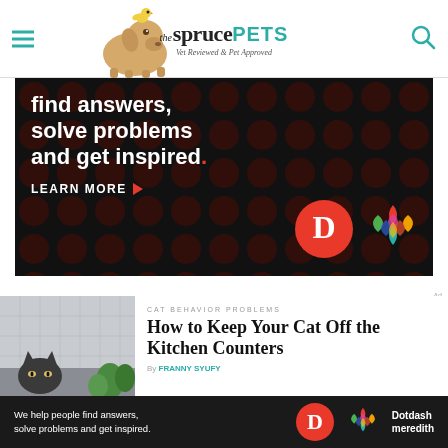the spruce PETS — Vet Reviewed & Pet Approved
[Figure (screenshot): Dotdash Meredith advertisement banner: dark background with dark red polka dots, bold white text reading 'find answers, solve problems and get inspired.' with a red period, LEARN MORE button with red arrow, and Dotdash/Meredith logos]
[Figure (photo): Thumbnail image of a cat peeking over a kitchen counter with plants]
CAT BEHAVIOR PROBLEMS
How to Keep Your Cat Off the Kitchen Counters
By FRANNY SYUFY
[Figure (screenshot): Bottom Dotdash Meredith ad bar: dark background, white text 'We help people find answers, solve problems and get inspired.' with D logo and Dotdash meredith text]